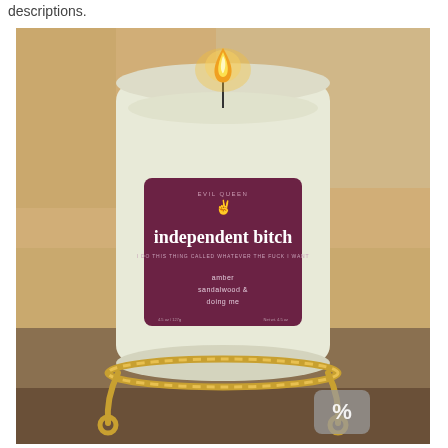descriptions.
[Figure (photo): A lit white candle in a glass jar sitting on a gold twisted rope coaster/stand. The candle has a dark purple/maroon label that reads 'EVIL QUEEN' at the top with a peace sign hand icon, then 'independent bitch' in large white serif text, followed by 'I DO THIS THING CALLED WHATEVER THE FUCK I WANT', then 'amber sandalwood & doing me'. A small gray rounded-square icon with a percent symbol appears in the lower right of the photo. The candle flame is visible at the top.]